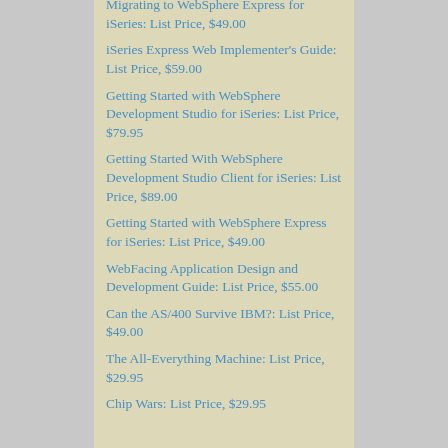Migrating to WebSphere Express for iSeries: List Price, $49.00
iSeries Express Web Implementer's Guide: List Price, $59.00
Getting Started with WebSphere Development Studio for iSeries: List Price, $79.95
Getting Started With WebSphere Development Studio Client for iSeries: List Price, $89.00
Getting Started with WebSphere Express for iSeries: List Price, $49.00
WebFacing Application Design and Development Guide: List Price, $55.00
Can the AS/400 Survive IBM?: List Price, $49.00
The All-Everything Machine: List Price, $29.95
Chip Wars: List Price, $29.95